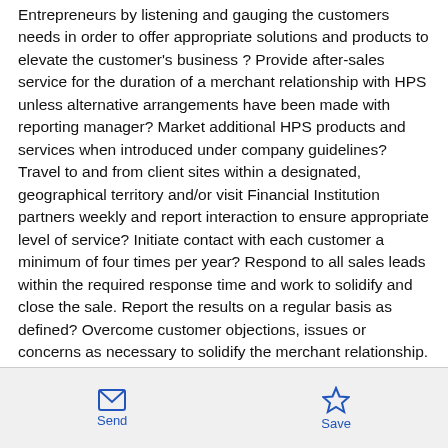Entrepreneurs by listening and gauging the customers needs in order to offer appropriate solutions and products to elevate the customer's business ? Provide after-sales service for the duration of a merchant relationship with HPS unless alternative arrangements have been made with reporting manager? Market additional HPS products and services when introduced under company guidelines? Travel to and from client sites within a designated, geographical territory and/or visit Financial Institution partners weekly and report interaction to ensure appropriate level of service? Initiate contact with each customer a minimum of four times per year? Respond to all sales leads within the required response time and work to solidify and close the sale. Report the results on a regular basis as defined? Overcome customer objections, issues or concerns as necessary to solidify the merchant relationship. Candidate should have the ability to obtain a higher value from merchants based on the value-added benefits offered by the product/service? Assess customers' needs and identify the product/service that best
Send  Save